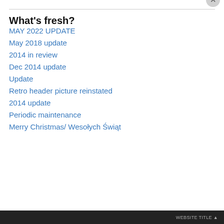What’s fresh?
MAY 2022 UPDATE
May 2018 update
2014 in review
Dec 2014 update
Update
Retro header picture reinstated
2014 update
Periodic maintenance
Merry Christmas/ Wesołych Świąt
Privacy & Cookies: This site uses cookies. By continuing to use this website, you agree to their use.
To find out more, including how to control cookies, see here: Cookie Policy
Close and accept